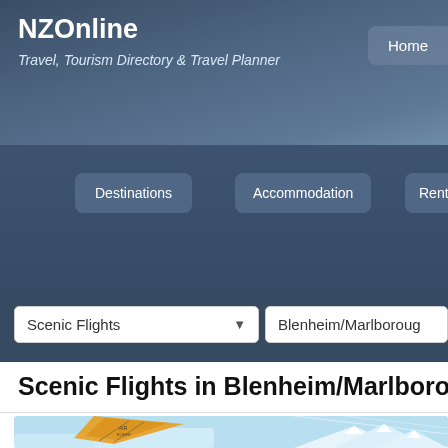NZOnline
Travel, Tourism Directory & Travel Planner
Home
Destinations
Accommodation
Rentals & Transpe
Scenic Flights
Blenheim/Marlborough
Scenic Flights in Blenheim/Marlboroug
[Figure (photo): Scenic flight image showing a yellow hang glider or microlight aircraft wing over a light blue sky with snow-capped mountains below]